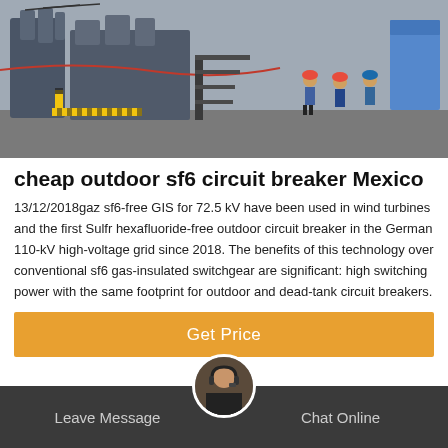[Figure (photo): Industrial outdoor electrical substation scene with large transformer/switchgear equipment and workers in hard hats and safety gear on site]
cheap outdoor sf6 circuit breaker Mexico
13/12/2018gaz sf6-free GIS for 72.5 kV have been used in wind turbines and the first Sulfr hexafluoride-free outdoor circuit breaker in the German 110-kV high-voltage grid since 2018. The benefits of this technology over conventional sf6 gas-insulated switchgear are significant: high switching power with the same footprint for outdoor and dead-tank circuit breakers.
Get Price
Leave Message
Chat Online